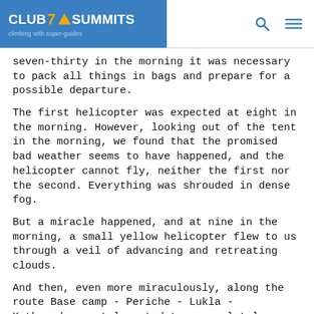CLUB 7 SUMMITS — climbing with super-guides
seven-thirty in the morning it was necessary to pack all things in bags and prepare for a possible departure.
The first helicopter was expected at eight in the morning. However, looking out of the tent in the morning, we found that the promised bad weather seems to have happened, and the helicopter cannot fly, neither the first nor the second. Everything was shrouded in dense fog.
But a miracle happened, and at nine in the morning, a small yellow helicopter flew to us through a veil of advancing and retreating clouds.
And then, even more miraculously, along the route Base camp - Periche - Lukla - Kathmandu, we teleported to a completely different world.
And already at one o'clock in the afternoon we were